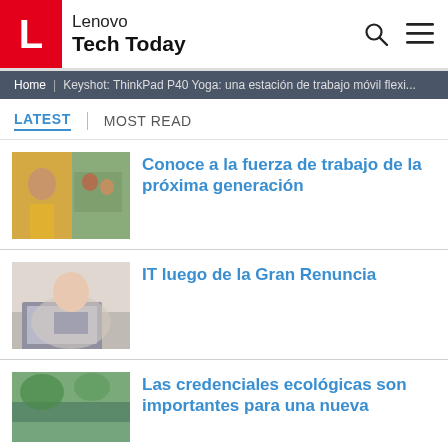Lenovo Tech Today
Home | Keyshot: ThinkPad P40 Yoga: una estación de trabajo móvil flexi...
LATEST | MOST READ
[Figure (photo): Young person outdoors with device, group of people in background]
Conoce a la fuerza de trabajo de la próxima generación
[Figure (photo): Person working on laptop]
IT luego de la Gran Renuncia
[Figure (photo): Nature/green outdoor scene]
Las credenciales ecológicas son importantes para una nueva